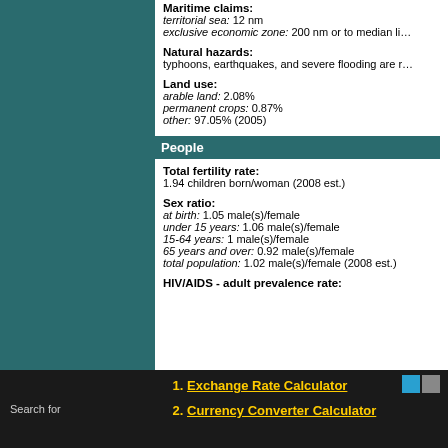Maritime claims: territorial sea: 12 nm exclusive economic zone: 200 nm or to median li...
Natural hazards: typhoons, earthquakes, and severe flooding are r...
Land use: arable land: 2.08% permanent crops: 0.87% other: 97.05% (2005)
People
Total fertility rate: 1.94 children born/woman (2008 est.)
Sex ratio: at birth: 1.05 male(s)/female under 15 years: 1.06 male(s)/female 15-64 years: 1 male(s)/female 65 years and over: 0.92 male(s)/female total population: 1.02 male(s)/female (2008 est.)
HIV/AIDS - adult prevalence rate:
Exchange Rate Calculator
Currency Converter Calculator